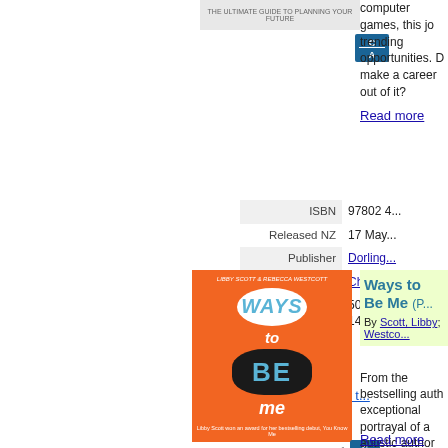[Figure (illustration): Book cover thumbnail at top - planning guide book]
[Figure (logo): C&A badge logo top]
computer games, this job trending opportunities. D make a career out of it?
Read more
|  |  |
| --- | --- |
| ISBN | 97802 4... |
| Released NZ | 17 May... |
| Publisher | Dorling... |
| Interest Age | Childre... |
| Availability | 500 In-... 14 wor... |
View details for this t...
[Figure (illustration): Book cover: Ways to Be Me - orange cover with cloud illustrations, by Libby Scott & Rebecca Westcott]
[Figure (logo): Airplane icon and C&A badge]
Ways to Be Me
By Scott, Libby; Westco...
From the bestselling auth exceptional portrayal of a autistic author Libby Sco YOU KNOW ME? this sta
Read more